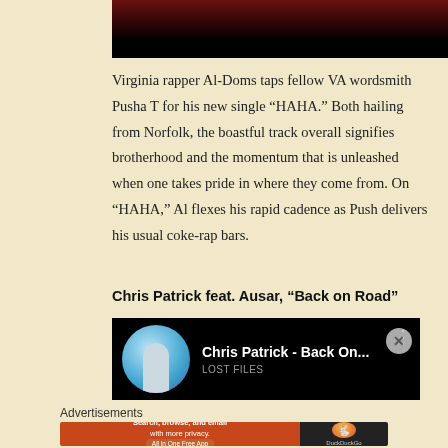[Figure (photo): Partial photo of a person against a dark/red background, cropped at top]
Virginia rapper Al-Doms taps fellow VA wordsmith Pusha T for his new single “HAHA.” Both hailing from Norfolk, the boastful track overall signifies brotherhood and the momentum that is unleashed when one takes pride in where they come from. On “HAHA,” Al flexes his rapid cadence as Push delivers his usual coke-rap bars.
Chris Patrick feat. Ausar, “Back on Road”
[Figure (screenshot): YouTube video thumbnail showing Chris Patrick - Back On... with LOST FILES subtitle, circular artist photo on black background]
Advertisements
[Figure (other): DuckDuckGo advertisement banner: Search, browse, and email with more privacy. All in One Free App]